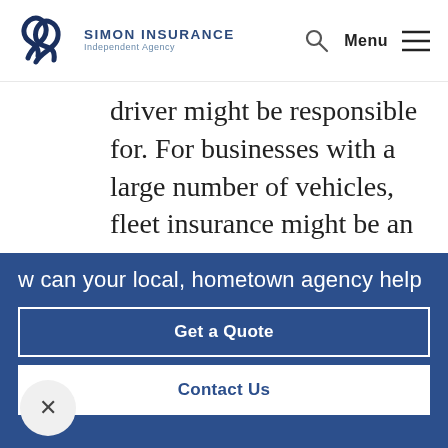SIMON INSURANCE Independent Agency
driver might be responsible for. For businesses with a large number of vehicles, fleet insurance might be an option.
Insurance differs depending on what you transport.
What you transport matters and
w can your local, hometown agency help
Get a Quote
Contact Us